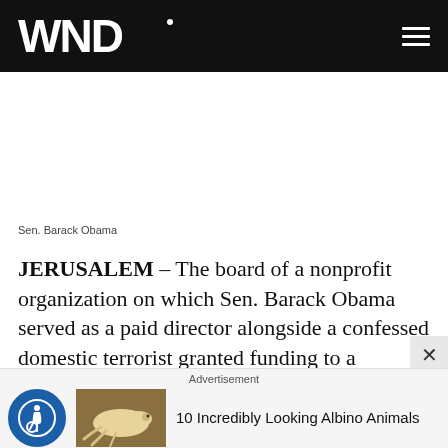WND
Sen. Barack Obama
JERUSALEM – The board of a nonprofit organization on which Sen. Barack Obama served as a paid director alongside a confessed domestic terrorist granted funding to a controversial Arab group that mourns the establishment of Israel as a "catastrophe" and supports
[Figure (screenshot): Bottom advertisement bar with accessibility icon, albino animal thumbnail, and text '10 Incredibly Looking Albino Animals']